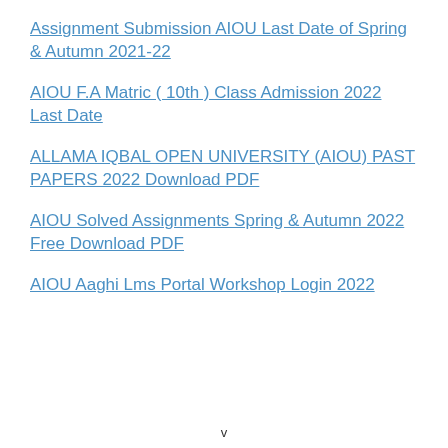Assignment Submission AIOU Last Date of Spring & Autumn 2021-22
AIOU F.A Matric ( 10th ) Class Admission 2022 Last Date
ALLAMA IQBAL OPEN UNIVERSITY (AIOU) PAST PAPERS 2022 Download PDF
AIOU Solved Assignments Spring & Autumn 2022 Free Download PDF
AIOU Aaghi Lms Portal Workshop Login 2022
v